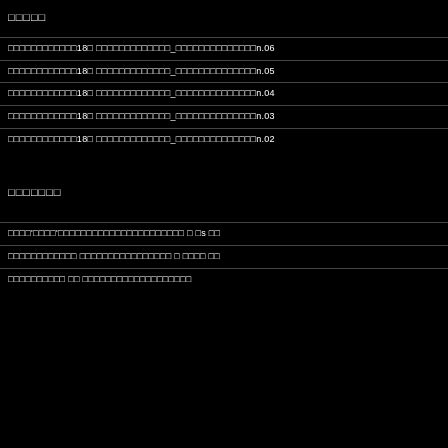□□□□□
□□□□□□□□□□□□18□ □□□□□□□□□□□□□□_□□□□□□□□□□□□□□□n.06
□□□□□□□□□□□□18□ □□□□□□□□□□□□□□_□□□□□□□□□□□□□□□n.05
□□□□□□□□□□□□18□ □□□□□□□□□□□□□□_□□□□□□□□□□□□□□□n.04
□□□□□□□□□□□□18□ □□□□□□□□□□□□□□_□□□□□□□□□□□□□□□n.03
□□□□□□□□□□□□18□ □□□□□□□□□□□□□□_□□□□□□□□□□□□□□□n.02
□□□□□□□
□□□□'□□□□'□□□□□□□□□□□□□□□□□□□□□□ □ □s □□
□□□□□□□□□□□□□ □□□□□□□□□□□□□□□□□ □ □□□□ □□